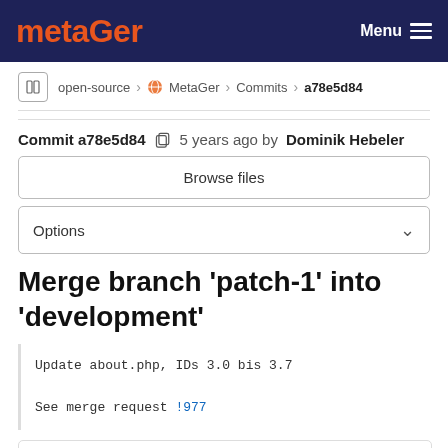metaGer  Menu
open-source › MetaGer › Commits › a78e5d84
Commit a78e5d84  5 years ago by Dominik Hebeler
Browse files
Options
Merge branch 'patch-1' into 'development'
Update about.php, IDs 3.0 bis 3.7

See merge request !977